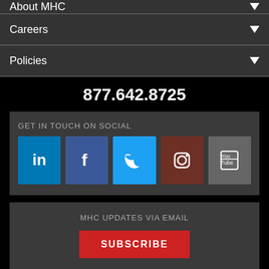About MHC
Careers
Policies
877.642.8725
GET IN TOUCH ON SOCIAL
[Figure (other): Social media icons: LinkedIn, Facebook, Twitter, Instagram, YouTube]
MHC UPDATES VIA EMAIL
SUBSCRIBE
© 2023 MHC. All rights reserved.